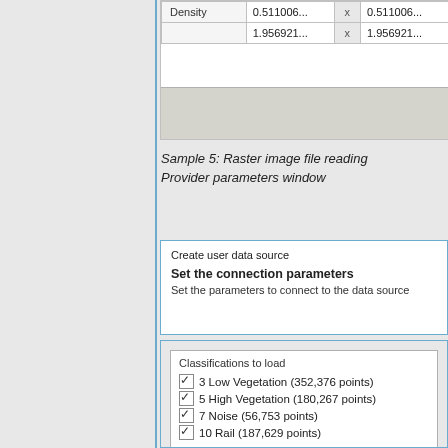[Figure (screenshot): Partial screenshot of a raster image file reading provider parameters window showing Density row with values 0.511006... x 0.511006... and 1.956921... x 1.956921... with a gray button bar at the bottom]
Sample 5: Raster image file reading Provider parameters window
[Figure (screenshot): Create user data source dialog - Set the connection parameters section with text 'Set the parameters to connect to the data source']
[Figure (screenshot): Classifications to load panel with checkboxes: 3 Low Vegetation (352,376 points), 5 High Vegetation (180,267 points), 7 Noise (56,753 points), 10 Rail (187,629 points)]